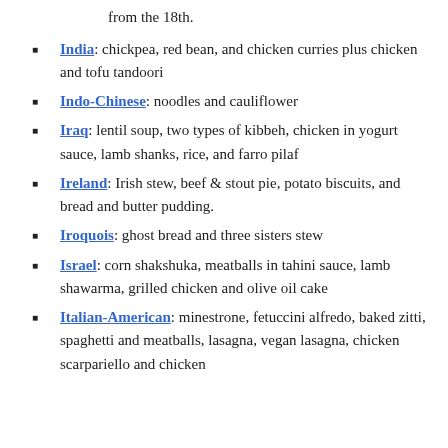from the 18th.
India: chickpea, red bean, and chicken curries plus chicken and tofu tandoori
Indo-Chinese: noodles and cauliflower
Iraq: lentil soup, two types of kibbeh, chicken in yogurt sauce, lamb shanks, rice, and farro pilaf
Ireland: Irish stew, beef & stout pie, potato biscuits, and bread and butter pudding.
Iroquois: ghost bread and three sisters stew
Israel: corn shakshuka, meatballs in tahini sauce, lamb shawarma, grilled chicken and olive oil cake
Italian-American: minestrone, fetuccini alfredo, baked zitti, spaghetti and meatballs, lasagna, vegan lasagna, chicken scarpariello and chicken